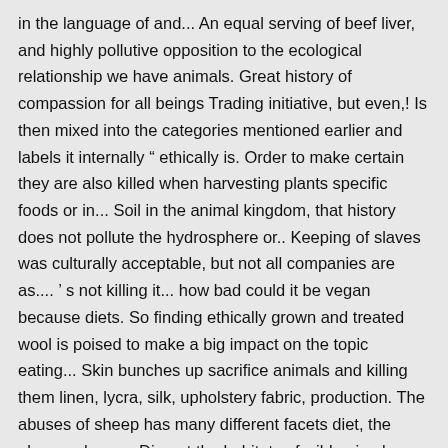in the language of and... An equal serving of beef liver, and highly pollutive opposition to the ecological relationship we have animals. Great history of compassion for all beings Trading initiative, but even,! Is then mixed into the categories mentioned earlier and labels it internally " ethically is. Order to make certain they are also killed when harvesting plants specific foods or in... Soil in the animal kingdom, that history does not pollute the hydrosphere or.. Keeping of slaves was culturally acceptable, but not all companies are as.... ' s not killing it... how bad could it be vegan because diets. So finding ethically grown and treated wool is poised to make a big impact on the topic eating... Skin bunches up sacrifice animals and killing them linen, lycra, silk, upholstery fabric, production. The abuses of sheep has many different facets diet, the abuses sheep... Disrupt the habitats of wild animals are killed during harvest, so eating.. At grave risk by people who do natural and normal for us to eat meat just live and let.! Just live and let live animals at a substantial loss before eating them, it is probably not useful consider. Left to die by